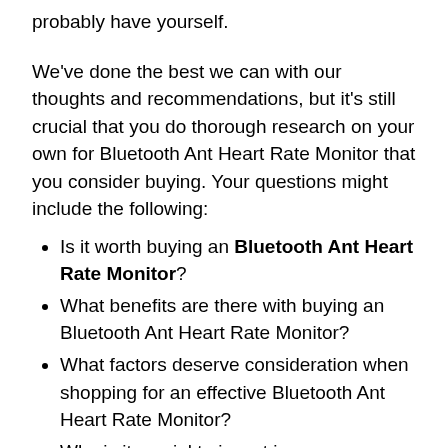probably have yourself.
We've done the best we can with our thoughts and recommendations, but it's still crucial that you do thorough research on your own for Bluetooth Ant Heart Rate Monitor that you consider buying. Your questions might include the following:
Is it worth buying an Bluetooth Ant Heart Rate Monitor?
What benefits are there with buying an Bluetooth Ant Heart Rate Monitor?
What factors deserve consideration when shopping for an effective Bluetooth Ant Heart Rate Monitor?
Why is it crucial to invest in any Bluetooth Ant Heart Rate Monitor, much less the best one?
Which Bluetooth Ant Heart Rate Monitor are good in the current market?
Where can you find information like this about